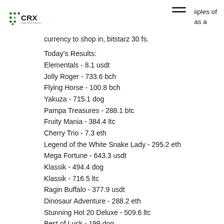CRX Copper Reach Extension
currency to shop in, bitstarz 30 fs.
Today's Results:
Elementals - 8.1 usdt
Jolly Roger - 733.6 bch
Flying Horse - 100.8 bch
Yakuza - 715.1 dog
Pampa Treasures - 288.1 btc
Fruity Mania - 384.4 ltc
Cherry Trio - 7.3 eth
Legend of the White Snake Lady - 295.2 eth
Mega Fortune - 643.3 usdt
Klassik - 494.4 dog
Klassik - 716.5 ltc
Ragin Buffalo - 377.9 usdt
Dinosaur Adventure - 288.2 eth
Stunning Hot 20 Deluxe - 509.6 ltc
Best of Luck - 199 dog